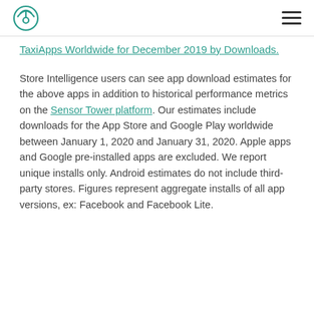[Sensor Tower logo] [hamburger menu]
TaxiApps Worldwide for December 2019 by Downloads.
Store Intelligence users can see app download estimates for the above apps in addition to historical performance metrics on the Sensor Tower platform. Our estimates include downloads for the App Store and Google Play worldwide between January 1, 2020 and January 31, 2020. Apple apps and Google pre-installed apps are excluded. We report unique installs only. Android estimates do not include third-party stores. Figures represent aggregate installs of all app versions, ex: Facebook and Facebook Lite.